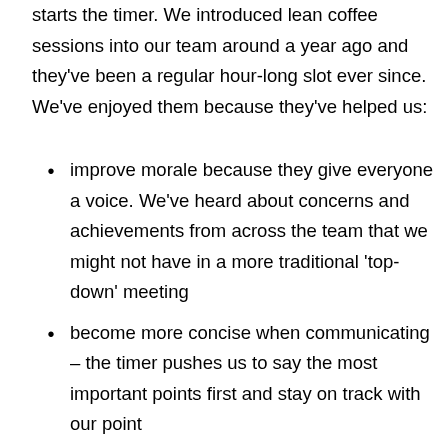starts the timer. We introduced lean coffee sessions into our team around a year ago and they've been a regular hour-long slot ever since. We've enjoyed them because they've helped us:
improve morale because they give everyone a voice. We've heard about concerns and achievements from across the team that we might not have in a more traditional 'top-down' meeting
become more concise when communicating – the timer pushes us to say the most important points first and stay on track with our point